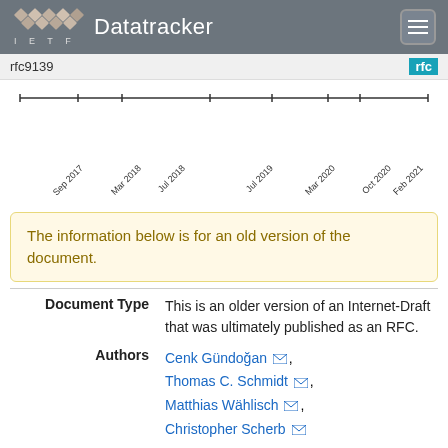IETF Datatracker
rfc9139
[Figure (other): Timeline showing document revision dates: Sep 2017, Mar 2018, Jul 2018, Jul 2019, Mar 2020, Oct 2020, Feb 2021, Sep 2021]
The information below is for an old version of the document.
| Field | Value |
| --- | --- |
| Document Type | This is an older version of an Internet-Draft that was ultimately published as an RFC. |
| Authors | Cenk Gündoğan, Thomas C. Schmidt, Matthias Wählisch, Christopher Scherb |